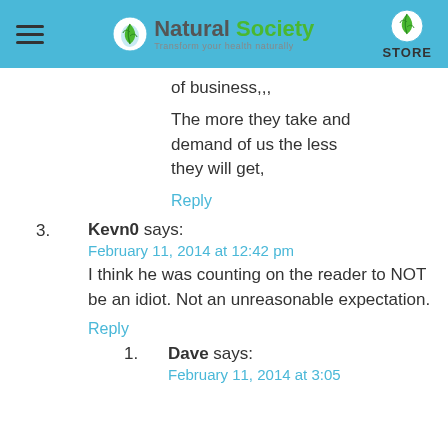Natural Society — Transform your health naturally | STORE
of business,,,
The more they take and demand of us the less they will get,
Reply
3. Kevn0 says: February 11, 2014 at 12:42 pm — I think he was counting on the reader to NOT be an idiot. Not an unreasonable expectation.
Reply
1. Dave says: February 11, 2014 at 3:05